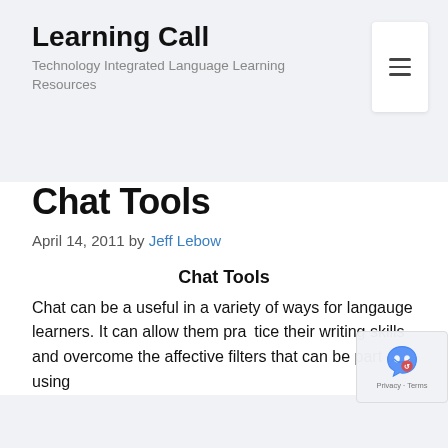Learning Call
Technology Integrated Language Learning Resources
Chat Tools
April 14, 2011 by Jeff Lebow
Chat Tools
Chat can be a useful in a variety of ways for langauge learners. It can allow them practice their writing skills and overcome the affective filters that can be part of using